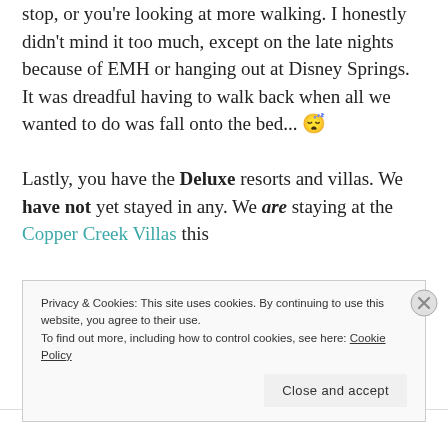stop, or you're looking at more walking. I honestly didn't mind it too much, except on the late nights because of EMH or hanging out at Disney Springs. It was dreadful having to walk back when all we wanted to do was fall onto the bed... 😴
Lastly, you have the Deluxe resorts and villas. We have not yet stayed in any. We are staying at the Copper Creek Villas this
Privacy & Cookies: This site uses cookies. By continuing to use this website, you agree to their use.
To find out more, including how to control cookies, see here: Cookie Policy